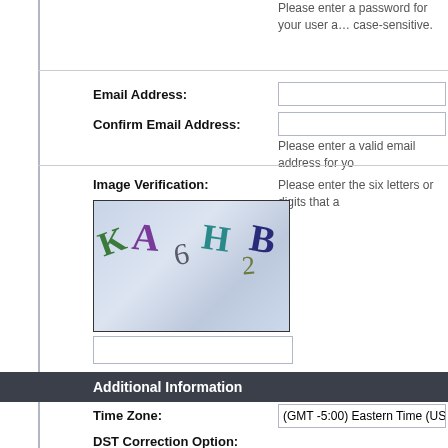Please enter a password for your user account. Note that passwords are case-sensitive.
Email Address:
Confirm Email Address:
Please enter a valid email address for yo
Image Verification:
Please enter the six letters or digits that a
[Figure (other): CAPTCHA image showing distorted characters: K A 6 H 2 B on a blurred blue-grey background]
Additional Information
Time Zone:
(GMT -5:00) Eastern Time (US & Cana
All timestamps displayed on the forums o show the correct time for your location in appropriate time zone from the list below
DST Correction Option:
Automatically detect DST settings
In addition, you may set the appropriate savings time in your part of the world.